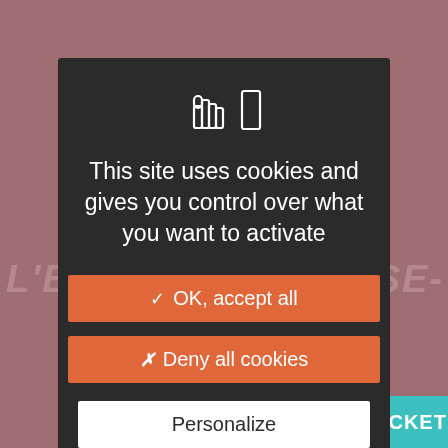[Figure (screenshot): Cookie consent modal dialog on a website. Background shows a muted rose/mauve colored page with partially visible text 'L'EN' on the left and 'USE-' on the right, and a teal 'BUY MY TICKET' bar at bottom right. A dark modal dialog in the center contains a hand/cookie icon, title text, and three buttons.]
This site uses cookies and gives you control over what you want to activate
✓ OK, accept all
✗ Deny all cookies
Personalize
Privacy policy